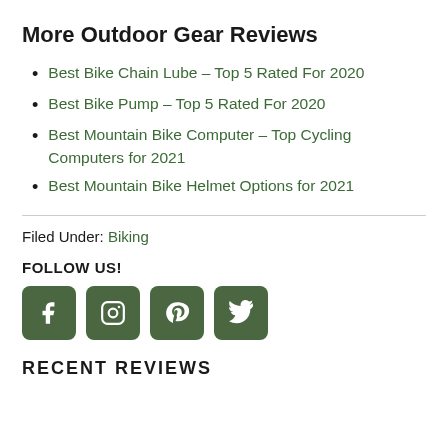More Outdoor Gear Reviews
Best Bike Chain Lube – Top 5 Rated For 2020
Best Bike Pump – Top 5 Rated For 2020
Best Mountain Bike Computer – Top Cycling Computers for 2021
Best Mountain Bike Helmet Options for 2021
Filed Under: Biking
FOLLOW US!
[Figure (other): Social media icons: Facebook, Instagram, Pinterest, Twitter — green rounded square buttons]
RECENT REVIEWS